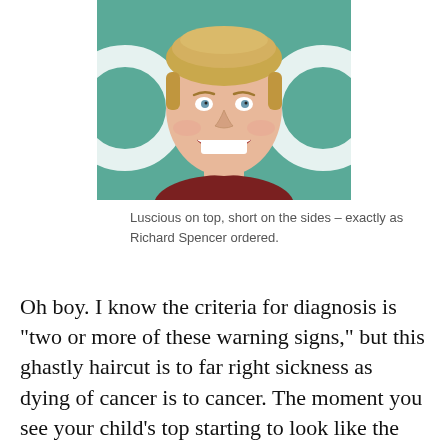[Figure (photo): Close-up photo of a young smiling man with blond hair, luscious on top and short on the sides, against a teal/green background.]
Luscious on top, short on the sides – exactly as Richard Spencer ordered.
Oh boy. I know the criteria for diagnosis is "two or more of these warning signs," but this ghastly haircut is to far right sickness as dying of cancer is to cancer. The moment you see your child's top starting to look like the Swedish video man, abandon all hope. You ignored your child's symptoms and the far right tumor ate its entire